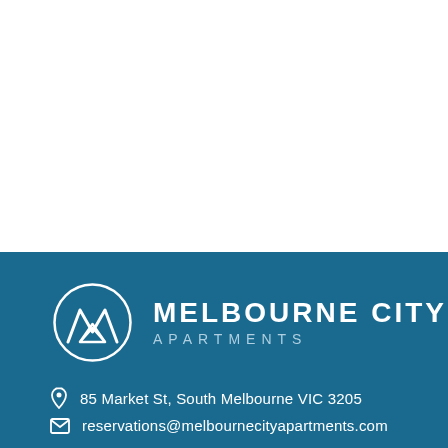[Figure (logo): Melbourne City Apartments logo with circular M icon on blue background, with company name and contact details]
85 Market St, South Melbourne VIC 3205
reservations@melbournecityapartments.com